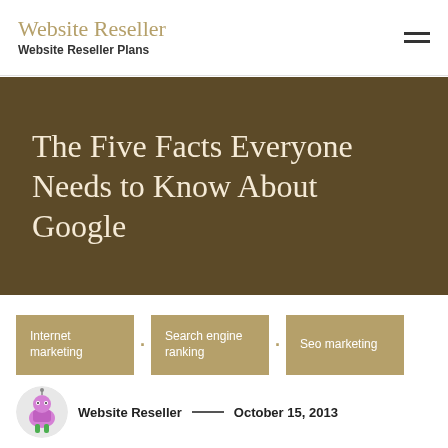Website Reseller | Website Reseller Plans
The Five Facts Everyone Needs to Know About Google
Internet marketing
Search engine ranking
Seo marketing
Website Reseller — October 15, 2013